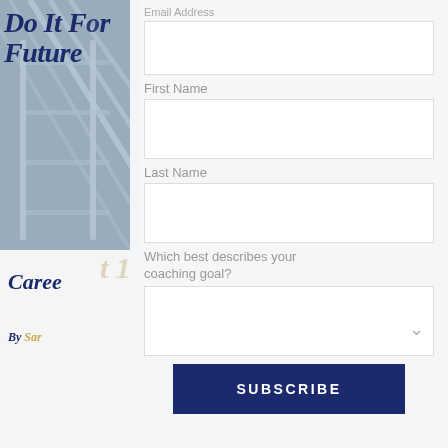[Figure (photo): Background image showing ladder/shelving structure, with bold italic title text 'Do It For Future' overlaid in dark navy]
Do It For Future
Career
By Sar... May 13,
Email Address
First Name
Last Name
Which best describes your coaching goal?
SUBSCRIBE